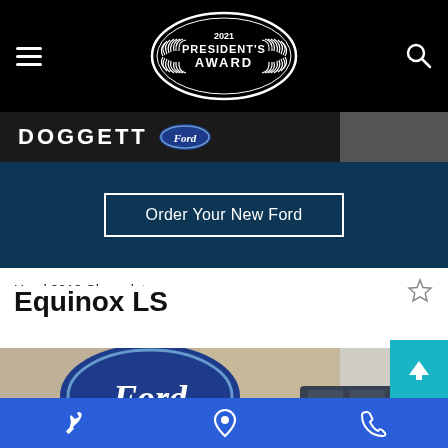[Figure (logo): Black navigation bar with hamburger menu on left, 2021 President's Award oval logo in center, search icon on right]
[Figure (logo): Doggett Ford dealer logo — DOGGETT in white bold text with Ford blue oval badge]
Order Your New Ford
Used 2013 Chevrolet
Equinox LS
[Figure (photo): Photo of a dark blue Chevrolet Equinox LS inside a Ford dealership with a large blue Ford oval logo on the wall behind it]
[Figure (infographic): Blue bottom toolbar with wrench icon, location pin icon, and phone icon]